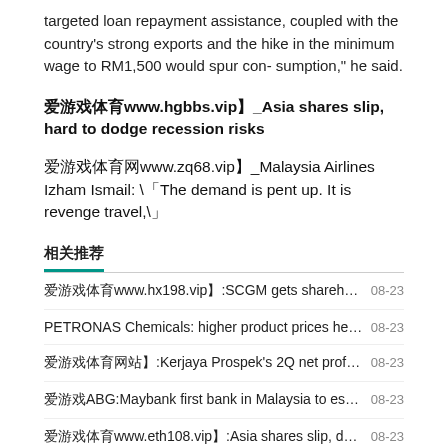targeted loan repayment assistance, coupled with the country's strong exports and the hike in the minimum wage to RM1,500 would spur con- sumption," he said.
爱游戏体育www.hgbbs.vip】_Asia shares slip, hard to dodge recession risks
爱游戏体育网www.zq68.vip】_Malaysia Airlines Izham Ismail: "The demand is pent up. It is revenge travel,"
相关推荐
爱游戏体育www.hx198.vip】:SCGM gets shareholders n... 08-23
PETRONAS Chemicals: higher product prices hel... 08-23
爱游戏体育网站】:Kerjaya Prospek's 2Q net profit, revenue ... 08-23
爱游戏ABG:Maybank first bank in Malaysia to establi... 08-23
爱游戏体育www.eth108.vip】:Asia shares slip, dollar str... 08-23
球球:Oil slumps on fears over economic slowdown, ... 08-23